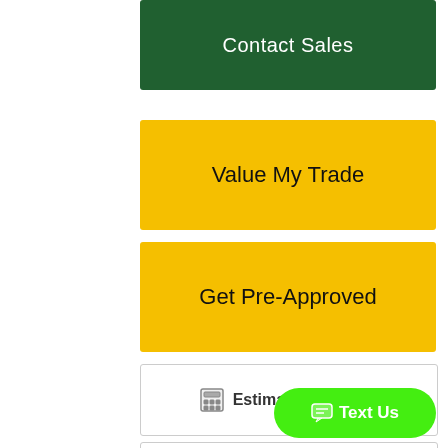Contact Sales
Value My Trade
Get Pre-Approved
Estimate Payments
Apply for Financing
Share
Text Us